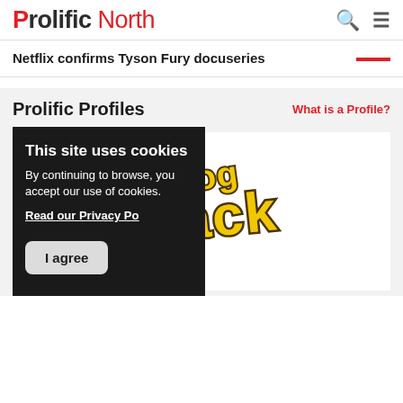Prolific North
Netflix confirms Tyson Fury docuseries
Prolific Profiles
What is a Profile?
This site uses cookies
By continuing to browse, you accept our use of cookies.
Read our Privacy Po
[Figure (logo): Blog Shack logo — yellow graffiti-style text 'Blog Shack' with dark brown outline on white background]
I agree